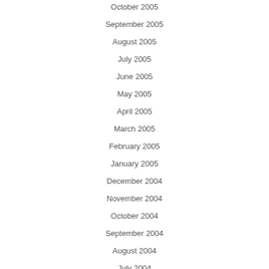October 2005
September 2005
August 2005
July 2005
June 2005
May 2005
April 2005
March 2005
February 2005
January 2005
December 2004
November 2004
October 2004
September 2004
August 2004
July 2004